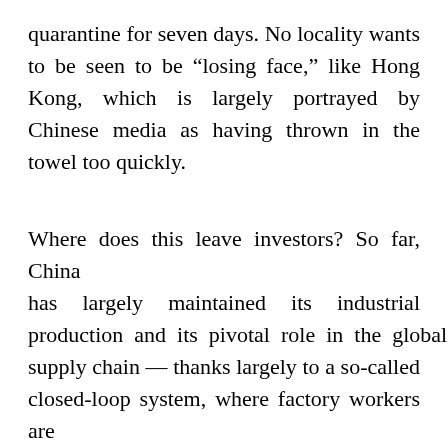quarantine for seven days. No locality wants to be seen to be “losing face,” like Hong Kong, which is largely portrayed by Chinese media as having thrown in the towel too quickly.
Where does this leave investors? So far, China has largely maintained its industrial production and its pivotal role in the global supply chain — thanks largely to a so-called closed-loop system, where factory workers are locked in their workplaces and sleep in makeshift dormitories. And it’s not just factories — trading floors are filled with